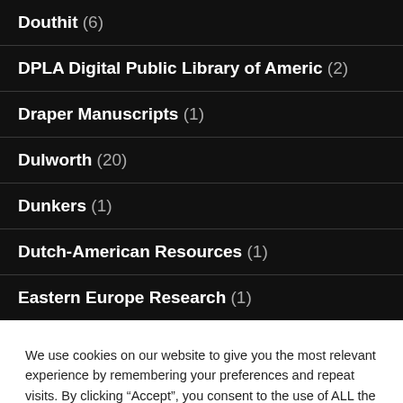Douthit (6)
DPLA Digital Public Library of Americ (2)
Draper Manuscripts (1)
Dulworth (20)
Dunkers (1)
Dutch-American Resources (1)
Eastern Europe Research (1)
We use cookies on our website to give you the most relevant experience by remembering your preferences and repeat visits. By clicking “Accept”, you consent to the use of ALL the cookies.
Do not sell my personal information.
Cookie settings  ACCEPT